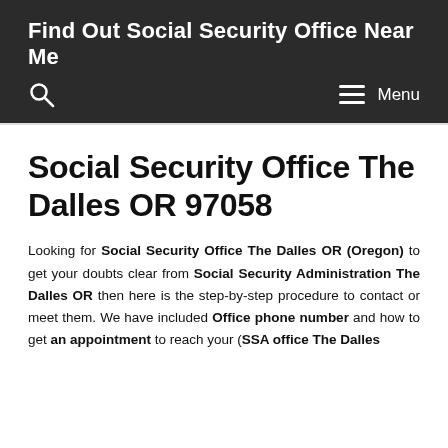Find Out Social Security Office Near Me
Social Security Office The Dalles OR 97058
Looking for Social Security Office The Dalles OR (Oregon) to get your doubts clear from Social Security Administration The Dalles OR then here is the step-by-step procedure to contact or meet them. We have included Office phone number and how to get an appointment to reach your (SSA office The Dalles